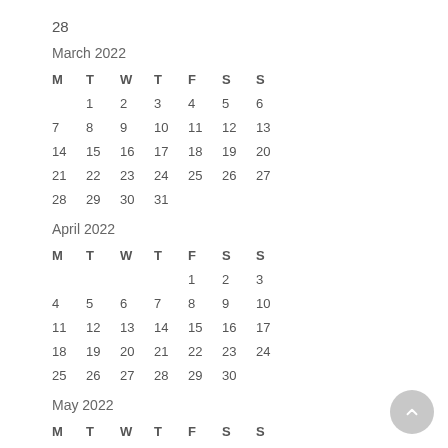28
March 2022
| M | T | W | T | F | S | S |
| --- | --- | --- | --- | --- | --- | --- |
|  | 1 | 2 | 3 | 4 | 5 | 6 |
| 7 | 8 | 9 | 10 | 11 | 12 | 13 |
| 14 | 15 | 16 | 17 | 18 | 19 | 20 |
| 21 | 22 | 23 | 24 | 25 | 26 | 27 |
| 28 | 29 | 30 | 31 |  |  |  |
April 2022
| M | T | W | T | F | S | S |
| --- | --- | --- | --- | --- | --- | --- |
|  |  |  |  | 1 | 2 | 3 |
| 4 | 5 | 6 | 7 | 8 | 9 | 10 |
| 11 | 12 | 13 | 14 | 15 | 16 | 17 |
| 18 | 19 | 20 | 21 | 22 | 23 | 24 |
| 25 | 26 | 27 | 28 | 29 | 30 |  |
May 2022
| M | T | W | T | F | S | S |
| --- | --- | --- | --- | --- | --- | --- |
|  |  |  |  |  |  | 1 |